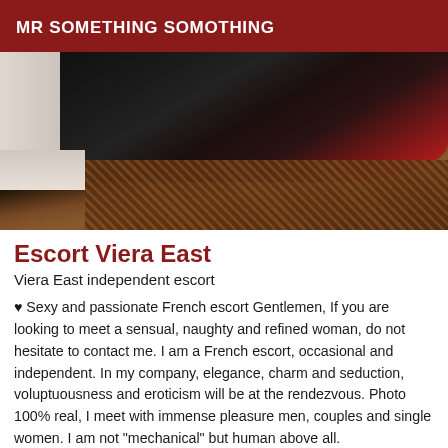MR SOMETHING SOMOTHING
[Figure (photo): Partial body photo showing dark leather gloves/clothing with red accents and fishnet stockings against white bedding background]
Escort Viera East
Viera East independent escort
♥ Sexy and passionate French escort Gentlemen, If you are looking to meet a sensual, naughty and refined woman, do not hesitate to contact me. I am a French escort, occasional and independent. In my company, elegance, charm and seduction, voluptuousness and eroticism will be at the rendezvous. Photo 100% real, I meet with immense pleasure men, couples and single women. I am not "mechanical" but human above all.